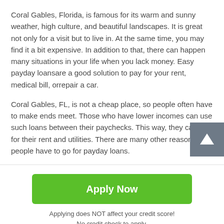Coral Gables, Florida, is famous for its warm and sunny weather, high culture, and beautiful landscapes. It is great not only for a visit but to live in. At the same time, you may find it a bit expensive. In addition to that, there can happen many situations in your life when you lack money. Easy payday loansare a good solution to pay for your rent, medical bill, orrepair a car.
Coral Gables, FL, is not a cheap place, so people often have to make ends meet. Those who have lower incomes can use such loans between their paychecks. This way, they can pay for their rent and utilities. There are many other reasons why people have to go for payday loans.
What Are the Benefits and Regulations of Coral Gables Payday Loans, Florida?
[Figure (other): Green Apply Now button with text 'Applying does NOT affect your credit score! No credit check to apply.']